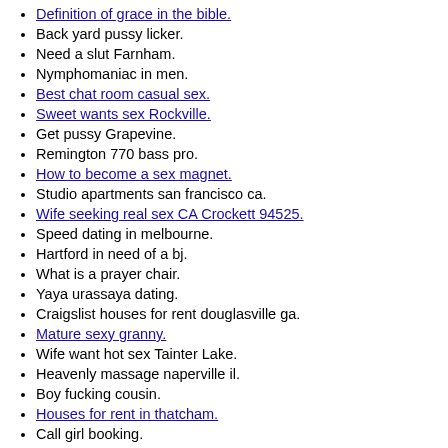Definition of grace in the bible. [link]
Back yard pussy licker.
Need a slut Farnham.
Nymphomaniac in men.
Best chat room casual sex. [link]
Sweet wants sex Rockville. [link]
Get pussy Grapevine.
Remington 770 bass pro.
How to become a sex magnet. [link]
Studio apartments san francisco ca.
Wife seeking real sex CA Crockett 94525. [link]
Speed dating in melbourne.
Hartford in need of a bj.
What is a prayer chair.
Yaya urassaya dating.
Craigslist houses for rent douglasville ga.
Mature sexy granny. [link]
Wife want hot sex Tainter Lake.
Heavenly massage naperville il.
Boy fucking cousin.
Houses for rent in thatcham. [link]
Call girl booking.
Welcome to Our Website